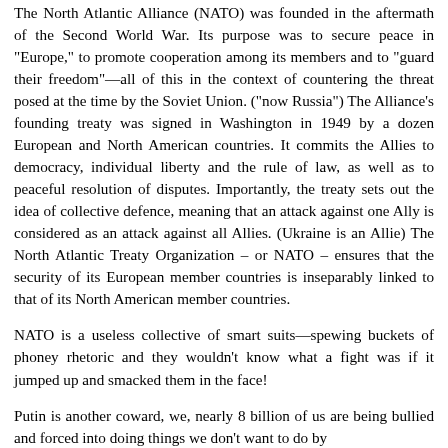The North Atlantic Alliance (NATO) was founded in the aftermath of the Second World War. Its purpose was to secure peace in "Europe," to promote cooperation among its members and to "guard their freedom"—all of this in the context of countering the threat posed at the time by the Soviet Union. ("now Russia") The Alliance's founding treaty was signed in Washington in 1949 by a dozen European and North American countries. It commits the Allies to democracy, individual liberty and the rule of law, as well as to peaceful resolution of disputes. Importantly, the treaty sets out the idea of collective defence, meaning that an attack against one Ally is considered as an attack against all Allies. (Ukraine is an Allie) The North Atlantic Treaty Organization – or NATO – ensures that the security of its European member countries is inseparably linked to that of its North American member countries.
NATO is a useless collective of smart suits—spewing buckets of phoney rhetoric and they wouldn't know what a fight was if it jumped up and smacked them in the face!
Putin is another coward, we, nearly 8 billion of us are being bullied and forced into doing things we don't want to do by